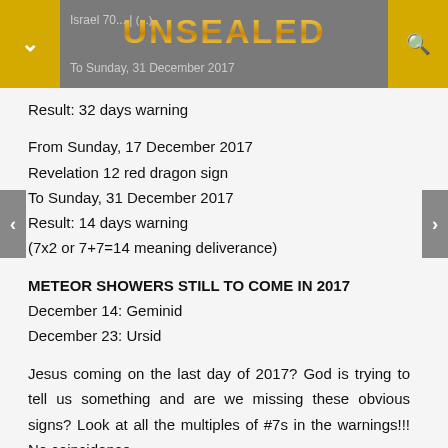Israel 70... | UNSEALED | To Sunday, 31 December 2017
Result: 32 days warning
From Sunday, 17 December 2017
Revelation 12 red dragon sign
To Sunday, 31 December 2017
Result: 14 days warning
(7x2 or 7+7=14 meaning deliverance)
METEOR SHOWERS STILL TO COME IN 2017
December 14: Geminid
December 23: Ursid
Jesus coming on the last day of 2017? God is trying to tell us something and are we missing these obvious signs? Look at all the multiples of #7s in the warnings!!! No coincidence.